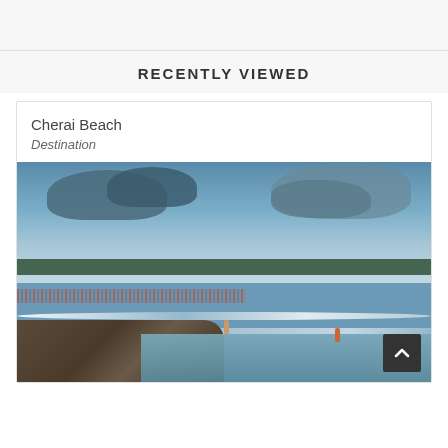RECENTLY VIEWED
Cherai Beach
Destination
[Figure (photo): Photograph of Cherai Beach showing a crowd of people along the shoreline on the left, rocky breakwater in the foreground, rough ocean waves, and a tree-lined coast in the background under a dramatic cloudy sky. Two individuals are visible wading in the water.]